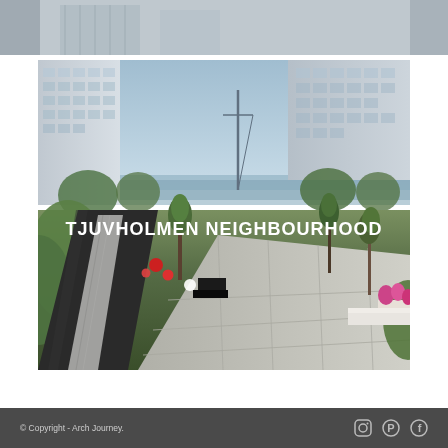[Figure (photo): Partial image strip at top, appears to be a cropped portion of an architectural/urban scene]
[Figure (photo): Photograph of Tjuvholmen neighbourhood in Oslo, showing a modern waterfront development with contemporary apartment buildings, trees, landscaped path with gravel strip, dark asphalt path, green grass areas, and paved plaza area. White text overlay reads 'TJUVHOLMEN NEIGHBOURHOOD'.]
© Copyright - Arch Journey.